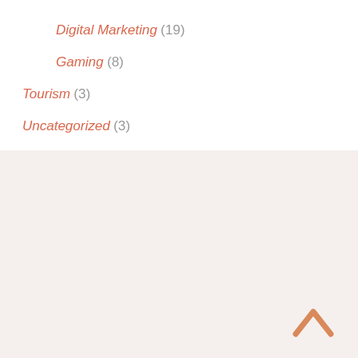Digital Marketing (19)
Gaming (8)
Tourism (3)
Uncategorized (3)